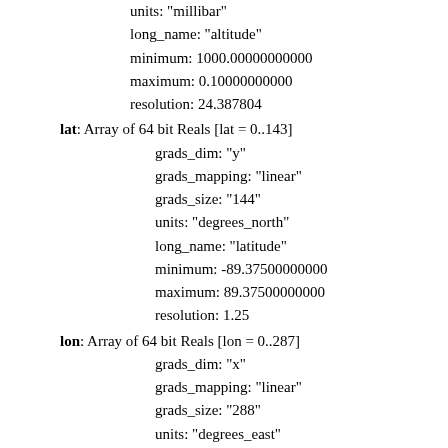units: "millibar"
long_name: "altitude"
minimum: 1000.00000000000
maximum: 0.10000000000
resolution: 24.387804
lat: Array of 64 bit Reals [lat = 0..143]
grads_dim: "y"
grads_mapping: "linear"
grads_size: "144"
units: "degrees_north"
long_name: "latitude"
minimum: -89.37500000000
maximum: 89.37500000000
resolution: 1.25
lon: Array of 64 bit Reals [lon = 0..287]
grads_dim: "x"
grads_mapping: "linear"
grads_size: "288"
units: "degrees_east"
long_name: "longitude"
minimum: -179.37500000000
maximum: 179.37500000000
resolution: 1.25
dtdttrb: Grid
FillValue: 9.9999999E14